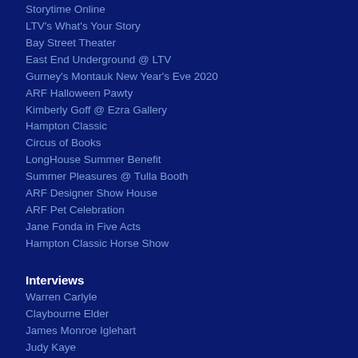Storytime Online
LTV's What's Your Story
Bay Street Theater
East End Underground @ LTV
Gurney's Montauk New Year's Eve 2020
ARF Halloween Pawty
Kimberly Goff @ Ezra Gallery
Hampton Classic
Circus of Books
LongHouse Summer Benefit
Summer Pleasures @ Tulla Booth
ARF Designer Show House
ARF Pet Celebration
Jane Fonda in Five Acts
Hampton Classic Horse Show
Interviews
Warren Carlyle
Claybourne Elder
James Monroe Iglehart
Judy Kaye
Paul Huntley
John Lloyd Young
Welcome Back to Theater